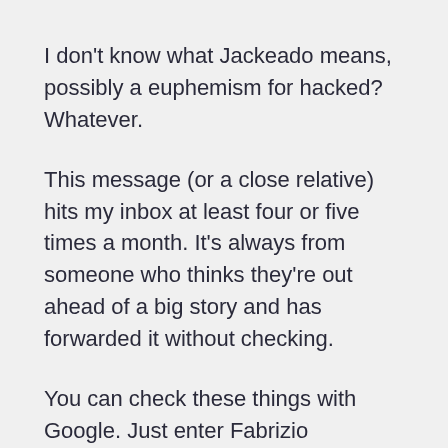I don't know what Jackeado means, possibly a euphemism for hacked? Whatever.
This message (or a close relative) hits my inbox at least four or five times a month. It's always from someone who thinks they're out ahead of a big story and has forwarded it without checking.
You can check these things with Google. Just enter Fabrizio Brambilla. He's well known.